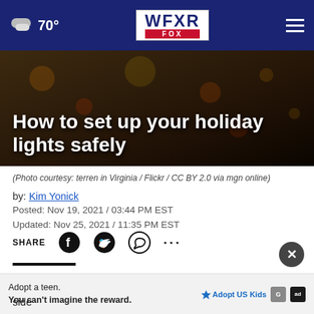☁ 70° | WFXR FOX | ☰
[Figure (screenshot): Hero image with dark background showing holiday lights, with article title overlaid]
How to set up your holiday lights safely
(Photo courtesy: terren in Virginia / Flickr / CC BY 2.0 via mgn online)
by: Kim Yonick
Posted: Nov 19, 2021 / 03:44 PM EST
Updated: Nov 25, 2021 / 11:35 PM EST
SHARE (social icons: Facebook, Twitter, WhatsApp, more)
(WFXR) — Spreading the holiday cheer has people getting ... side ...
Adopt a teen. You can't imagine the reward. AdoptUSKids ad